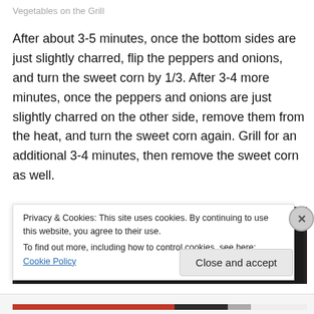Vegetables on the Grill
After about 3-5 minutes, once the bottom sides are just slightly charred, flip the peppers and onions, and turn the sweet corn by 1/3. After 3-4 more minutes, once the peppers and onions are just slightly charred on the other side, remove them from the heat, and turn the sweet corn again. Grill for an additional 3-4 minutes, then remove the sweet corn as well.
[Figure (photo): Photo of grilled vegetables including red peppers and sweet corn on a light blue tray, with dark background]
Privacy & Cookies: This site uses cookies. By continuing to use this website, you agree to their use.
To find out more, including how to control cookies, see here: Cookie Policy
Close and accept